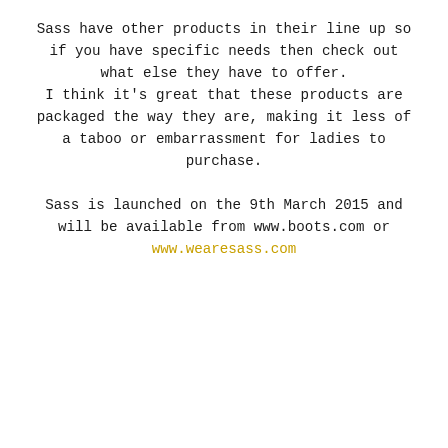Sass have other products in their line up so if you have specific needs then check out what else they have to offer. I think it's great that these products are packaged the way they are, making it less of a taboo or embarrassment for ladies to purchase.
Sass is launched on the 9th March 2015 and will be available from www.boots.com or www.wearesass.com